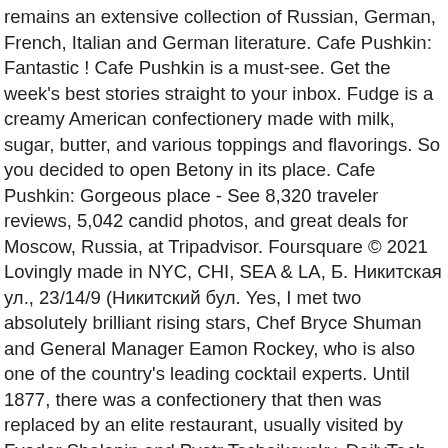remains an extensive collection of Russian, German, French, Italian and German literature. Cafe Pushkin: Fantastic ! Cafe Pushkin is a must-see. Get the week's best stories straight to your inbox. Fudge is a creamy American confectionery made with milk, sugar, butter, and various toppings and flavorings. So you decided to open Betony in its place. Cafe Pushkin: Gorgeous place - See 8,320 traveler reviews, 5,042 candid photos, and great deals for Moscow, Russia, at Tripadvisor. Foursquare © 2021  Lovingly made in NYC, CHI, SEA & LA, Б. Никитская ул., 23/14/9 (Никитский бул. Yes, I met two absolutely brilliant rising stars, Chef Bryce Shuman and General Manager Eamon Rockey, who is also one of the country's leading cocktail experts. Until 1877, there was a confectionery that then was replaced by an elite restaurant, usually visited by Fyodor Shalapin and Pyotr Tschaikovsky. DailyTech. It existed in my head for 30 years. Healthy and tasty kids menu, playground and all the staff you need to have a good time with your kids", "wonderful ambience, excellent presentation, experience that u can never forget", "Good for visiting with family. All rights reserved by Rossiyskaya Gazeta. Located in the heart of Plain City Utah. Look at creations. Les hôtes sont logés dans 1 chambres à coucher. He spoke to RIR about what drives him and his restaurants, and what it takes to introduce Russian cuisine to foreign diners. It was here that the great poet Alexander Pushkin drank his last cup of coffee before dying in a duel with G d'Anthès. In 1834, a Chinese café (Café chinois) was...